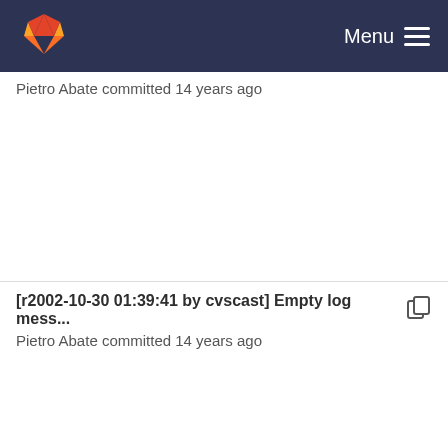GitLab — Menu
Pietro Abate committed 14 years ago
[r2002-10-30 01:39:41 by cvscast] Empty log mess... Pietro Abate committed 14 years ago
[r2002-10-15 21:01:00 by cvscast] Empty log mess... Pietro Abate committed 14 years ago
[r2002-11-07 00:58:53 by cvscast] Empty log mess...